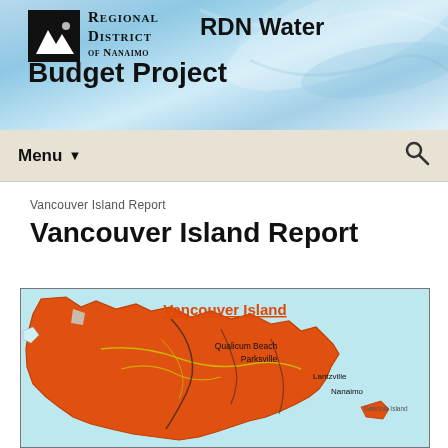Regional District of Nanaimo — RDN Water Budget Project
Menu
Vancouver Island Report
Vancouver Island Report
[Figure (map): Map of Vancouver Island shown in orange, with surrounding water in light blue. Labels indicate Qualicum Beach, Parksville, Lantzville, Nanaimo, and Gabriola Island. Yellow lines indicate roads or rivers. Title reads 'Vancouver Island' in orange with underline.]